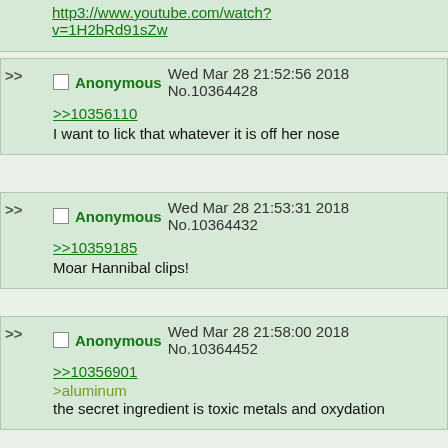http3://www.youtube.com/watch?v=1H2bRd91sZw (partial post at top)
Anonymous Wed Mar 28 21:52:56 2018 No.10364428
>>10356110
I want to lick that whatever it is off her nose
Anonymous Wed Mar 28 21:53:31 2018 No.10364432
>>10359185
Moar Hannibal clips!
Anonymous Wed Mar 28 21:58:00 2018 No.10364452
>>10356901
>aluminum
the secret ingredient is toxic metals and oxydation
Anonymous Wed Mar 28 21:59:06 2018 No.10364456
>>10359236
Yes in this spontaneous moment of extreme stress and panic I, too, would act completely rationally.